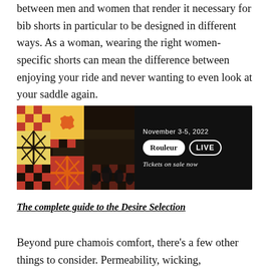between men and women that render it necessary for bib shorts in particular to be designed in different ways. As a woman, wearing the right women-specific shorts can mean the difference between enjoying your ride and never wanting to even look at your saddle again.
[Figure (infographic): Advertisement for Rouleur LIVE event, November 3-5, 2022. Left half shows a black-and-white photo of a concert audience with colorful red, yellow, and black decorative geometric/checkered pattern overlay. Right half on black background shows date 'November 3-5, 2022', Rouleur and LIVE logos in pill-shaped badges, and text 'Tickets on sale now' in italic.]
The complete guide to the Desire Selection
Beyond pure chamois comfort, there's a few other things to consider. Permeability, wicking, compressive fit, bib strap